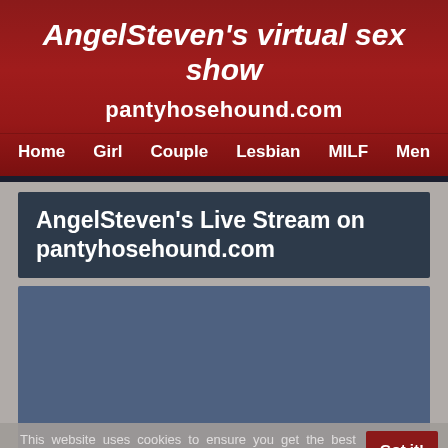AngelSteven's virtual sex show
pantyhosehound.com
Home   Girl   Couple   Lesbian   MILF   Men
AngelSteven's Live Stream on pantyhosehound.com
[Figure (other): Video player placeholder area, solid blue-gray rectangle]
This website uses cookies to ensure you get the best experience on our website. Learn more